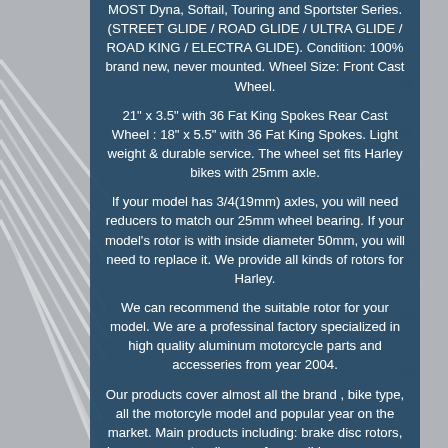MOST Dyna, Softail, Touring and Sportster Series. (STREET GLIDE / ROAD GLIDE / ULTRA GLIDE / ROAD KING / ELECTRA GLIDE). Condition: 100% brand new, never mounted. Wheel Size: Front Cast Wheel.
21" x 3.5" with 36 Fat King Spokes Rear Cast Wheel : 18" x 5.5" with 36 Fat King Spokes. Light weight & durable service. The wheel set fits Harley bikes with 25mm axle.
If your model has 3/4(19mm) axles, you will need reducers to match our 25mm wheel bearing. If your model's rotor is with inside diameter 50mm, you will need to replace it. We provide all kinds of rotors for Harley.
We can recommend the suitable rotor for your model. We are a professinal factory specialized in high quality aluminum motorcycle parts and accesseries from year 2004.
Our products cover almost all the brand , bike type, all the motorcyle model and popular year on the market. Main products including: brake disc rotors, levers , rearsets, clip ons , frame sliders, gas caps, wheel sets, footpegs, radiators , forward controls and other aluminum parts. We are A team, strong support...